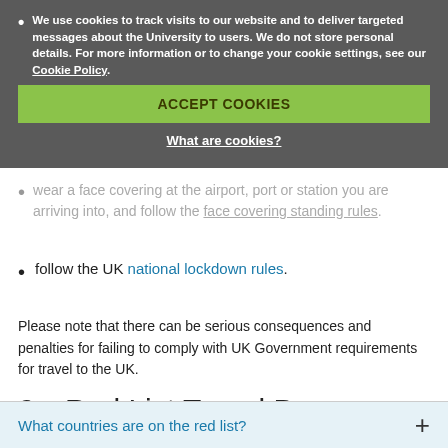We use cookies to track visits to our website and to deliver targeted messages about the University to users. We do not store personal details. For more information or to change your cookie settings, see our Cookie Policy.
show either...
wear a face covering at the airport, port or station you are arriving into, and follow the face covering rules.
follow the UK national lockdown rules.
Please note that there can be serious consequences and penalties for failing to comply with UK Government requirements for travel to the UK.
2. Red List Travel Ban Countries
Open all sections
What countries are on the red list?